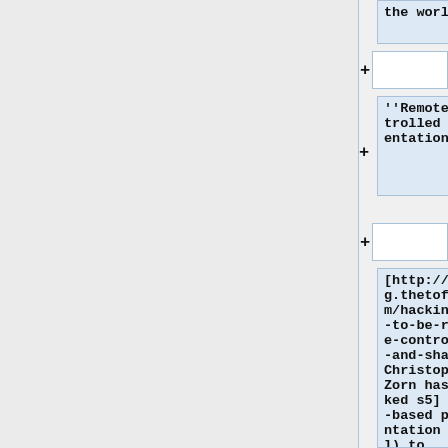the world.
the world.
+
''Remote controlled presentation''
+
[http://blog.thetofu.com/hacking-s5-to-be-remote-controlled-and-shared Christopher Zorn has hacked s5] (web-based presentation tool) to